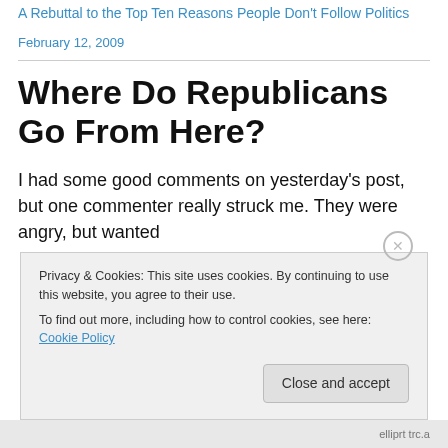A Rebuttal to the Top Ten Reasons People Don't Follow Politics
February 12, 2009
Where Do Republicans Go From Here?
I had some good comments on yesterday's post, but one commenter really struck me. They were angry, but wanted to...
Privacy & Cookies: This site uses cookies. By continuing to use this website, you agree to their use.
To find out more, including how to control cookies, see here: Cookie Policy